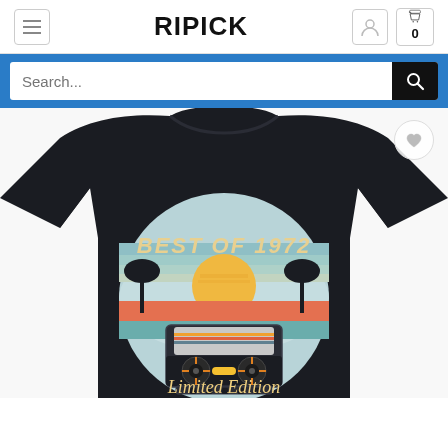RIPICK
Search...
[Figure (photo): A black t-shirt with 'Best of 1972 Limited Edition' retro cassette tape and sunset graphic design]